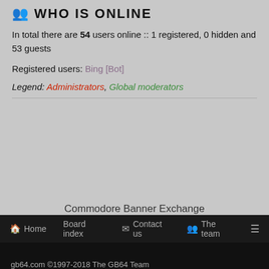WHO IS ONLINE
In total there are 54 users online :: 1 registered, 0 hidden and 53 guests
Registered users: Bing [Bot]
Legend: Administrators, Global moderators
Commodore Banner Exchange
Home  Board index  Contact us  The team  ≡
gb64.com ©1997-2018 The GB64 Team